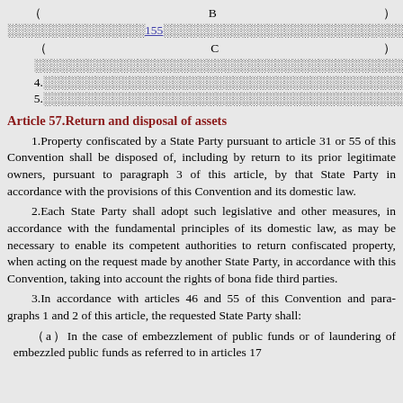（B）…article 55…（text continues）…
（C）…
4.…
5.…
Article 57.Return and disposal of assets
1.Property confiscated by a State Party pursuant to article 31 or 55 of this Convention shall be disposed of, including by return to its prior legitimate owners, pursuant to paragraph 3 of this article, by that State Party in accordance with the provisions of this Convention and its domestic law.
2.Each State Party shall adopt such legislative and other measures, in accordance with the fundamental principles of its domestic law, as may be necessary to enable its competent authorities to return confiscated property, when acting on the request made by another State Party, in accordance with this Convention, taking into account the rights of bona fide third parties.
3.In accordance with articles 46 and 55 of this Convention and para-graphs 1 and 2 of this article, the requested State Party shall:
（a）In the case of embezzlement of public funds or of laundering of embezzled public funds as referred to in articles 17